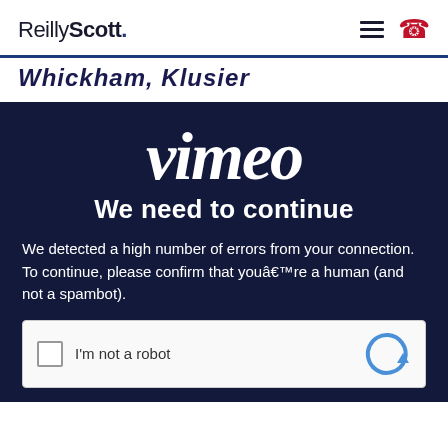ReillyScott.
Whickham, Klusier
[Figure (screenshot): Dark navy panel with Vimeo logo overlaid with text 'We need to continue'. Below is error message: 'We detected a high number of errors from your connection. To continue, please confirm that youâ€™re a human (and not a spambot).' and a reCAPTCHA checkbox with 'I'm not a robot'.]